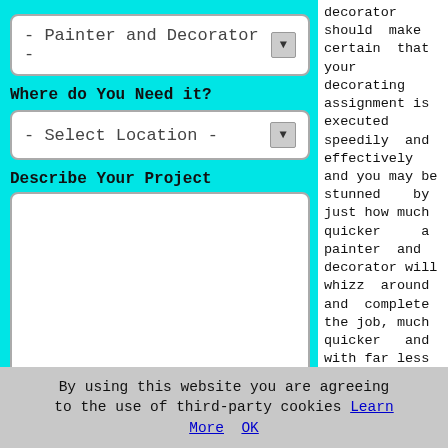[Figure (screenshot): A web form on a cyan background with a dropdown for 'Painter and Decorator', a 'Where do You Need it?' label, a 'Select Location' dropdown, a 'Describe Your Project' label, a textarea, and a green SUBMIT button.]
decorator should make certain that your decorating assignment is executed speedily and effectively and you may be stunned by just how much quicker a painter and decorator will whizz around and complete the job, much quicker and with far less mess and fuss than would occur if you
By using this website you are agreeing to the use of third-party cookies Learn More OK